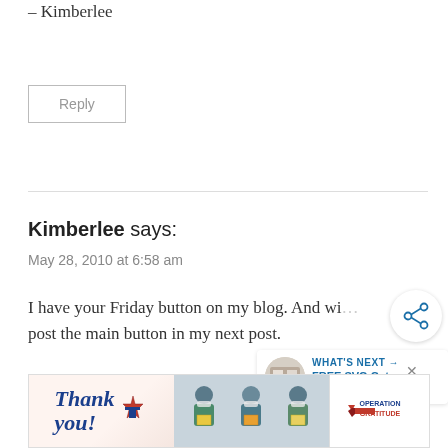– Kimberlee
Reply
Kimberlee says:
May 28, 2010 at 6:58 am
I have your Friday button on my blog. And wi... post the main button in my next post.
Reply
[Figure (screenshot): Share icon overlay and WHAT'S NEXT panel with FREE SVG Cut Files for Cri... thumbnail]
[Figure (photo): Operation Gratitude advertisement banner with Thank You text and people holding boxes]